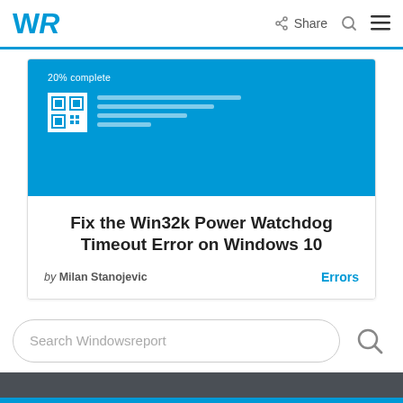WR | Share
[Figure (screenshot): Windows 10 Blue Screen of Death showing '20% complete' with a QR code and small text lines on a blue background]
Fix the Win32k Power Watchdog Timeout Error on Windows 10
by Milan Stanojevic   Errors
Search Windowsreport